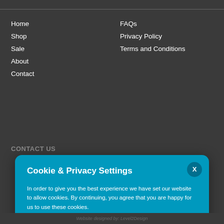Home
Shop
Sale
About
Contact
FAQs
Privacy Policy
Terms and Conditions
CONTACT US
Cookie & Privacy Settings
In order to give you the best experience we have set our website to allow cookies. By continuing, you agree that you are happy for us to use these cookies.

To get more details for to change your cookie settings for our website please select "More Information"
ACCEPT AND CONTINUE
MORE INFORMATION
Website designed by: Level2Design